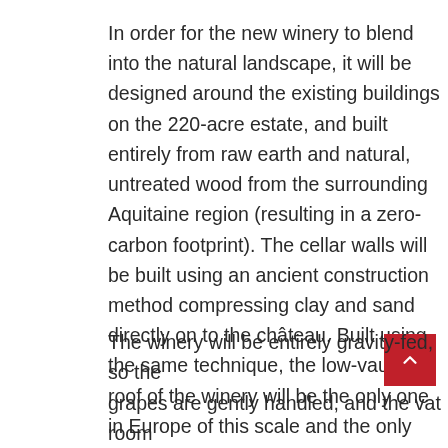In order for the new winery to blend into the natural landscape, it will be designed around the existing buildings on the 220-acre estate, and built entirely from raw earth and natural, untreated wood from the surrounding Aquitaine region (resulting in a zero-carbon footprint). The cellar walls will be built using an ancient construction method compressing clay and sand directly on to the château. Built using the same technique, the low-vaulted roof of the winery will be the only one in Europe of this scale and the only loadbearing one in the world.
The winery will be entirely gravity-fed, so the grapes are gently handled, and the vat room